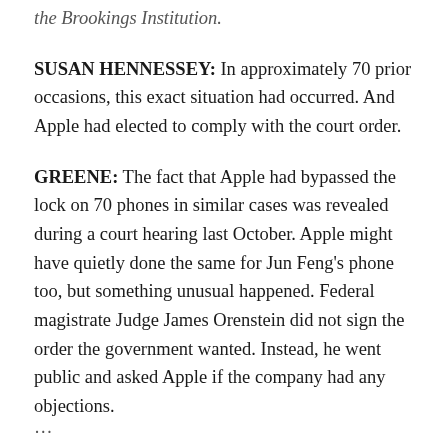the Brookings Institution.
SUSAN HENNESSEY: In approximately 70 prior occasions, this exact situation had occurred. And Apple had elected to comply with the court order.
GREENE: The fact that Apple had bypassed the lock on 70 phones in similar cases was revealed during a court hearing last October. Apple might have quietly done the same for Jun Feng's phone too, but something unusual happened. Federal magistrate Judge James Orenstein did not sign the order the government wanted. Instead, he went public and asked Apple if the company had any objections.
JENNIFER GRANICK: What was remarkable is that the public hadn't seen the argument surfaced.
...